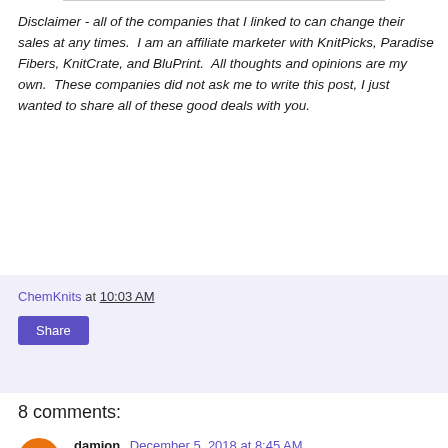Disclaimer - all of the companies that I linked to can change their sales at any times.  I am an affiliate marketer with KnitPicks, Paradise Fibers, KnitCrate, and BluPrint.  All thoughts and opinions are my own.  These companies did not ask me to write this post, I just wanted to share all of these good deals with you.
ChemKnits at 10:03 AM
Share
8 comments:
damion December 5, 2018 at 8:45 AM
hostgator coupons & Promo Codes (75% Off) - Dec 2018 Discounts
Reply